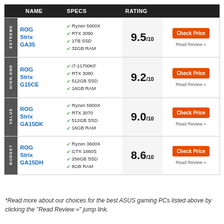|  | NAME | SPECS | RATING |  |
| --- | --- | --- | --- | --- |
| EXTREME | ROG Strix GA35 | Ryzen 5900X / RTX 3090 / 1TB SSD / 32GB RAM | 9.5/10 | Check Price / Read Review » |
| HIGH-END | ROG Strix G15CE | i7-11700KF / RTX 3080 / 512GB SSD / 16GB RAM | 9.2/10 | Check Price / Read Review » |
| VALUE | ROG Strix GA15DK | Ryzen 5800X / RTX 3070 / 512GB SSD / 16GB RAM | 9.0/10 | Check Price / Read Review » |
| BUDGET | ROG Strix GA15DH | Ryzen 3600X / GTX 1660S / 256GB SSD / 8GB RAM | 8.6/10 | Check Price / Read Review » |
*Read more about our choices for the best ASUS gaming PCs listed above by clicking the "Read Review »" jump link.